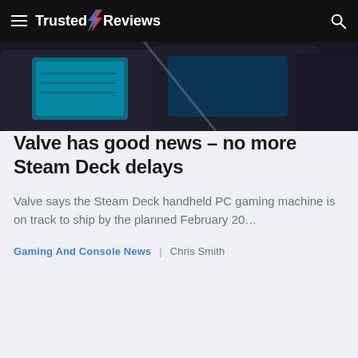Trusted Reviews
[Figure (photo): Close-up photo of gaming handheld devices, likely Steam Deck units, with blue-lit screens visible against a dark background]
Valve has good news – no more Steam Deck delays
Valve says the Steam Deck handheld PC gaming machine is on track to ship by the planned February 20…
Gaming And Console News  |  Chris Smith